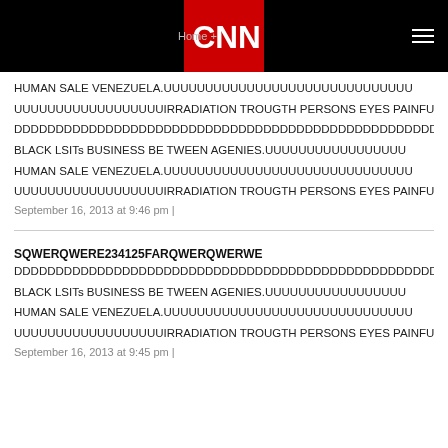CNN - Home
HUMAN SALE VENEZUELA.UUUUUUUUUUUUUUUUUUUUUUUUUUUUU
UUUUUUUUUUUUUUUUUUIRRADIATION TROUGTH PERSONS EYES PAINFULL.UU
DDDDDDDDDDDDDDDDDDDDDDDDDDDDDDDDDDDDDDDDDDDDDDDDDDDDDDDDDDD
BLACK LSITs BUSINESS BE TWEEN AGENIES.UUUUUUUUUUUUUUUUU
HUMAN SALE VENEZUELA.UUUUUUUUUUUUUUUUUUUUUUUUUUUUUU
UUUUUUUUUUUUUUUUUUIRRADIATION TROUGTH PERSONS EYES PAINFULL.UU
September 16, 2013 at 9:46 pm |
SQWERQWERE234125FARQWERQWERWE
DDDDDDDDDDDDDDDDDDDDDDDDDDDDDDDDDDDDDDDDDDDDDDDDDDDDDDDDDDD
BLACK LSITs BUSINESS BE TWEEN AGENIES.UUUUUUUUUUUUUUUUU
HUMAN SALE VENEZUELA.UUUUUUUUUUUUUUUUUUUUUUUUUUUUUU
UUUUUUUUUUUUUUUUUUIRRADIATION TROUGTH PERSONS EYES PAINFULL.UU
September 16, 2013 at 9:45 pm |